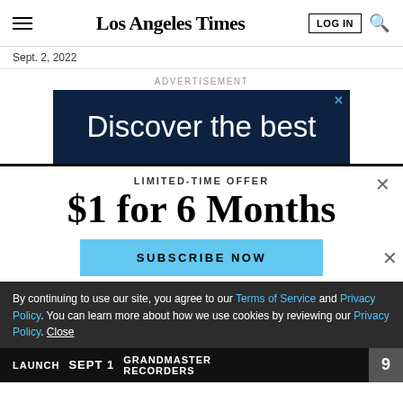Los Angeles Times
Sept. 2, 2022
ADVERTISEMENT
[Figure (screenshot): Dark blue advertisement banner reading 'Discover the best']
LIMITED-TIME OFFER
$1 for 6 Months
SUBSCRIBE NOW
By continuing to use our site, you agree to our Terms of Service and Privacy Policy. You can learn more about how we use cookies by reviewing our Privacy Policy. Close